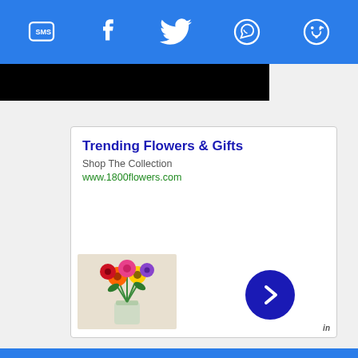[Figure (screenshot): Blue top navigation bar with social sharing icons: SMS, Facebook, Twitter, WhatsApp, and a share/reload icon, all in white on blue background]
[Figure (screenshot): Black banner/bar below the social icons header]
Trending Flowers & Gifts
Shop The Collection
www.1800flowers.com
[Figure (photo): Colorful flower bouquet with roses, gerbera daisies, and other mixed flowers in a glass vase on a white background]
[Figure (illustration): Dark blue circular next/forward arrow button]
in